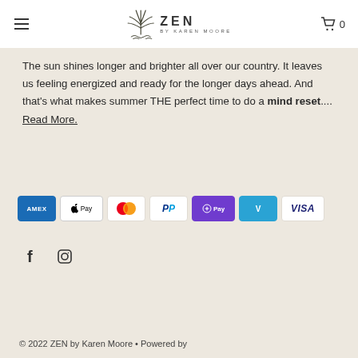ZEN BY KAREN MOORE
The sun shines longer and brighter all over our country. It leaves us feeling energized and ready for the longer days ahead. And that's what makes summer THE perfect time to do a mind reset.... Read More.
[Figure (logo): Payment method icons: American Express, Apple Pay, Mastercard, PayPal, Shop Pay, Venmo, Visa]
[Figure (other): Social media icons: Facebook (f) and Instagram]
© 2022 ZEN by Karen Moore • Powered by